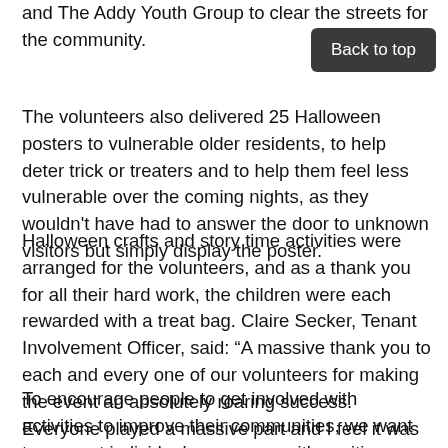and The Addy Youth Group to clear the streets for the community.
The volunteers also delivered 25 Halloween posters to vulnerable older residents, to help deter trick or treaters and to help them feel less vulnerable over the coming nights, as they wouldn't have had to answer the door to unknown visitors but simply display the poster.
Halloween crafts and story time activities were arranged for the volunteers, and as a thank you for all their hard work, the children were each rewarded with a treat bag. Claire Secker, Tenant Involvement Officer, said: “A massive thank you to each and every one of our volunteers for making the event an absolutely roaring success. Everyone played a massive part and I feel it was an example of partnership working at its very best.”
To encourage people to get involved with activities to improve their communities, we want to support individuals or groups with exciting ideas that can be transformed into community projects, just like this.